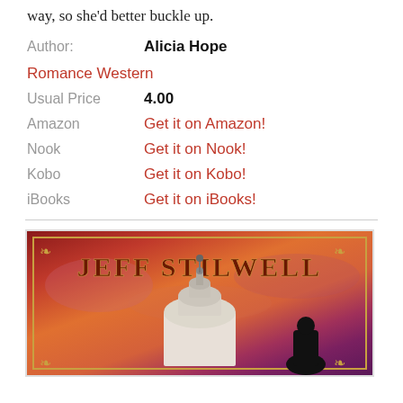way, so she'd better buckle up.
Author:   Alicia Hope
Romance Western
Usual Price   4.00
Amazon   Get it on Amazon!
Nook   Get it on Nook!
Kobo   Get it on Kobo!
iBooks   Get it on iBooks!
[Figure (photo): Book cover for a Jeff Stilwell novel showing a Capitol dome building against a dramatic red/orange sunset sky with a silhouetted figure, framed by a decorative gold border. Author name JEFF STILWELL displayed prominently at the top.]